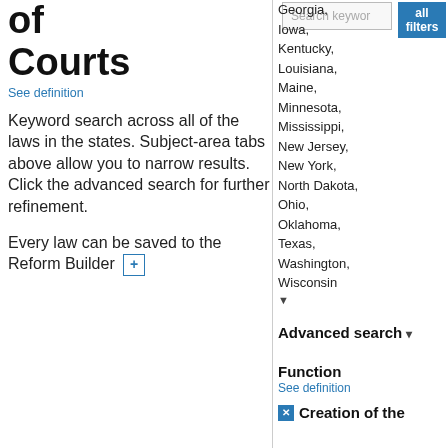of Courts
See definition
Keyword search across all of the laws in the states. Subject-area tabs above allow you to narrow results. Click the advanced search for further refinement.
Every law can be saved to the Reform Builder +
Georgia, Iowa, Kentucky, Louisiana, Maine, Minnesota, Mississippi, New Jersey, New York, North Dakota, Ohio, Oklahoma, Texas, Washington, Wisconsin
Advanced search ▾
Function
See definition
Creation of the